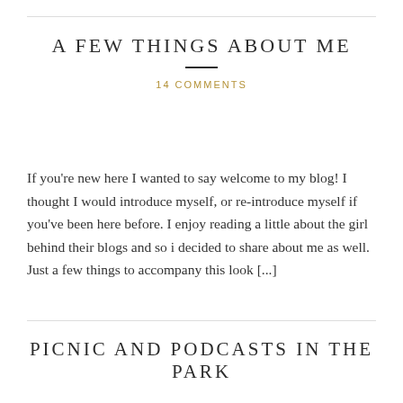A FEW THINGS ABOUT ME
14 COMMENTS
If you're new here I wanted to say welcome to my blog! I thought I would introduce myself, or re-introduce myself if you've been here before. I enjoy reading a little about the girl behind their blogs and so i decided to share about me as well. Just a few things to accompany this look [...]
PICNIC AND PODCASTS IN THE PARK